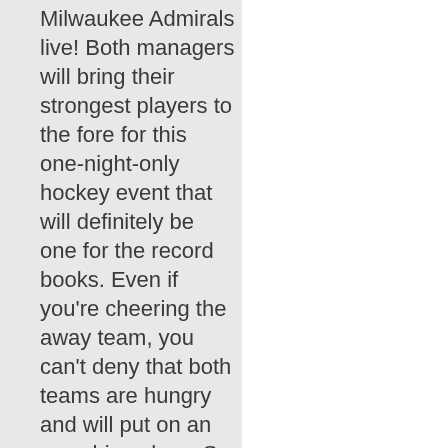Milwaukee Admirals live! Both managers will bring their strongest players to the fore for this one-night-only hockey event that will definitely be one for the record books. Even if you’re cheering the away team, you can’t deny that both teams are hungry and will put on an smashing show. So come and take to the ice with your favorite players and see Chicago Wolves vs. Milwaukee Admirals live. Order your tickets quick by